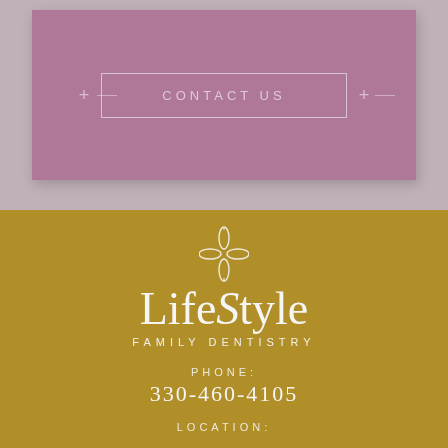[Figure (other): Mauve/pink contact us button with decorative border on mauve background card]
[Figure (logo): Lifestyle Family Dentistry logo with ornamental four-petal flower motif on gold/tan background]
PHONE:
330-460-4105
LOCATION: